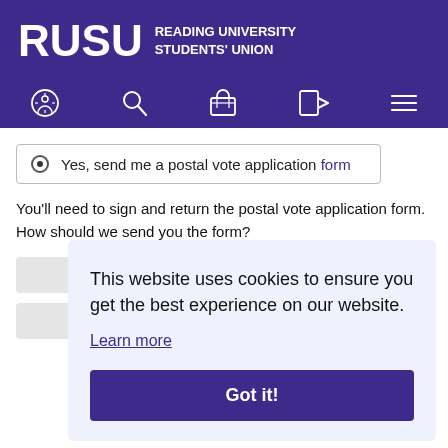[Figure (logo): RUSU Reading University Students' Union logo on purple background]
[Figure (screenshot): Navigation bar with accessibility, search, basket, login, and menu icons on purple background]
Yes, send me a postal vote application form
You'll need to sign and return the postal vote application form. How should we send you the form?
This website uses cookies to ensure you get the best experience on our website.
Learn more
Got it!
YOU REGISTER TO VOTE AND STILL KEEP YOUR INFORMATION
You can register to vote and still keep your information